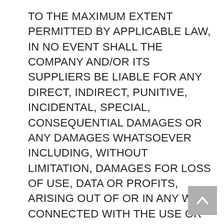TO THE MAXIMUM EXTENT PERMITTED BY APPLICABLE LAW, IN NO EVENT SHALL THE COMPANY AND/OR ITS SUPPLIERS BE LIABLE FOR ANY DIRECT, INDIRECT, PUNITIVE, INCIDENTAL, SPECIAL, CONSEQUENTIAL DAMAGES OR ANY DAMAGES WHATSOEVER INCLUDING, WITHOUT LIMITATION, DAMAGES FOR LOSS OF USE, DATA OR PROFITS, ARISING OUT OF OR IN ANY WAY CONNECTED WITH THE USE OR PERFORMANCE OF THE WEBSITE, WITH THE DELAY OR INABILITY TO USE THE WEBSITE OR RELATED SERVICES, THE PROVISION OF OR FAILURE TO PROVIDE SERVICES, OR FOR ANY INFORMATION, SOFTWARE